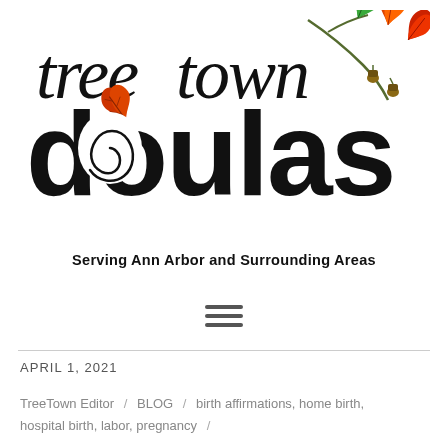[Figure (logo): Tree Town Doulas logo with stylized handwritten 'tree town' text above large bold 'doulas' text, decorated with autumn oak leaves (red/orange and green) and acorns on a branch. The 'o' in 'doulas' contains a spiral design.]
Serving Ann Arbor and Surrounding Areas
[Figure (other): Hamburger menu icon (three horizontal lines)]
APRIL 1, 2021
TreeTown Editor / BLOG / birth affirmations, home birth, hospital birth, labor, pregnancy /